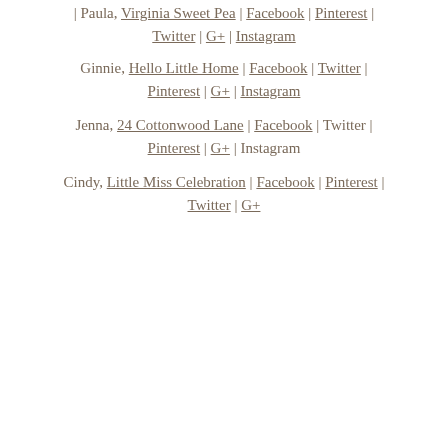Paula, Virginia Sweet Pea | Facebook | Pinterest | Twitter | G+ | Instagram
Ginnie, Hello Little Home | Facebook | Twitter | Pinterest | G+ | Instagram
Jenna, 24 Cottonwood Lane | Facebook | Twitter | Pinterest | G+ | Instagram
Cindy, Little Miss Celebration | Facebook | Pinterest | Twitter | G+